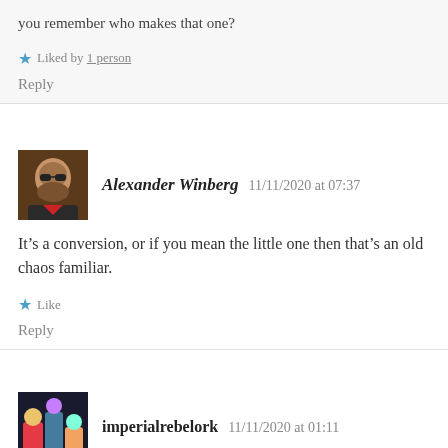you remember who makes that one?
★ Liked by 1 person
Reply
Alexander Winberg   11/11/2020 at 07:37
It's a conversion, or if you mean the little one then that's an old chaos familiar.
★ Like
Reply
imperialrebelork   11/11/2020 at 01:11